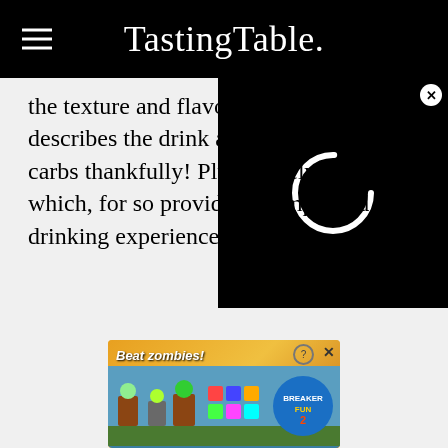Tasting Table.
the texture and flavor. Starbucks describes the drink as being sweet — no carbs thankfully! Plus, the texture is velvet-like which, for some, provides an improved drinking experience.
[Figure (screenshot): Video player overlay with black background and white loading spinner, with X close button]
[Figure (screenshot): Advertisement banner for Breaker Fun 2 game showing 'Beat zombies!' text with game characters on yellow background]